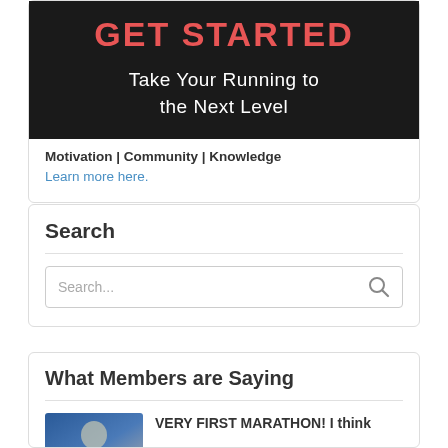[Figure (illustration): Dark banner image with red bold text 'GET STARTED' and white text 'Take Your Running to the Next Level']
Motivation | Community | Knowledge
Learn more here.
Search
Search...
What Members are Saying
[Figure (photo): Person photo thumbnail]
VERY FIRST MARATHON! I think